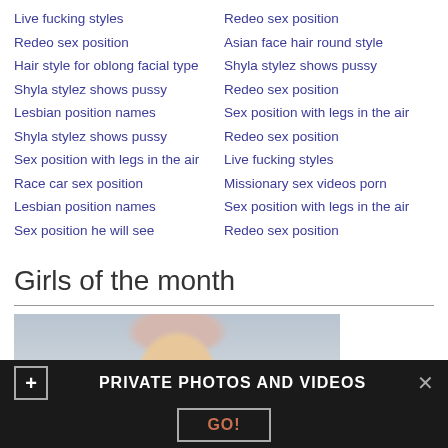Live fucking styles
Redeo sex position
Hair style for oblong facial type
Shyla stylez shows pussy
Lesbian position names
Shyla stylez shows pussy
Sex position with legs in the air
Race car sex position
Lesbian position names
Sex position he will see
Redeo sex position
Asian face hair round style
Shyla stylez shows pussy
Redeo sex position
Sex position with legs in the air
Redeo sex position
Live fucking styles
Missionary sex videos porn
Sex position with legs in the air
Redeo sex position
Girls of the month
[Figure (photo): Partial photo of a blonde woman, cropped at the face/hair area]
PRIVATE PHOTOS AND VIDEOS
GO!